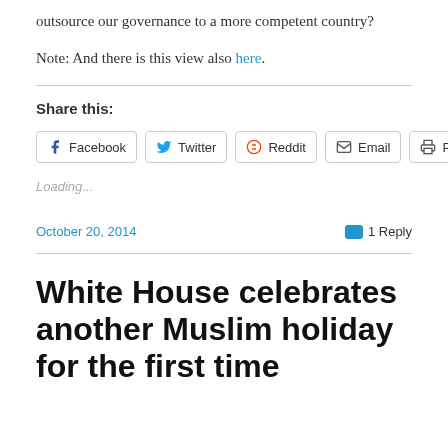outsource our governance to a more competent country?
Note: And there is this view also here.
Share this:
Facebook  Twitter  Reddit  Email  Print
Loading...
October 20, 2014
1 Reply
White House celebrates another Muslim holiday for the first time